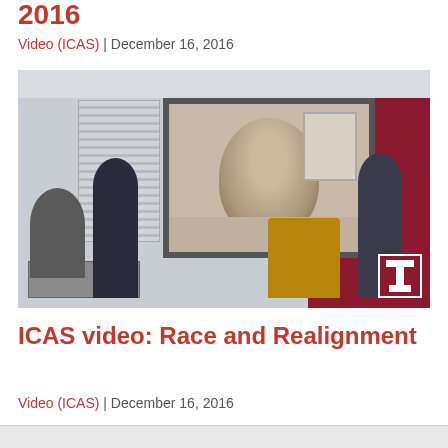2016
Video (ICAS) | December 16, 2016
[Figure (photo): Photograph of a conference or seminar room. A presenter stands holding a microphone next to a projection screen showing a video call with a remote speaker. A second person sits at a table on the left. A third person stands at a lectern on the right, near a crimson Temple University banner. Temple University T logo watermark is visible in the bottom right corner of the image.]
ICAS video: Race and Realignment
Video (ICAS) | December 16, 2016